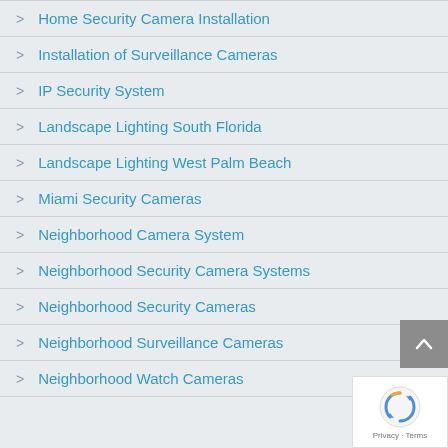Home Security Camera Installation
Installation of Surveillance Cameras
IP Security System
Landscape Lighting South Florida
Landscape Lighting West Palm Beach
Miami Security Cameras
Neighborhood Camera System
Neighborhood Security Camera Systems
Neighborhood Security Cameras
Neighborhood Surveillance Cameras
Neighborhood Watch Cameras